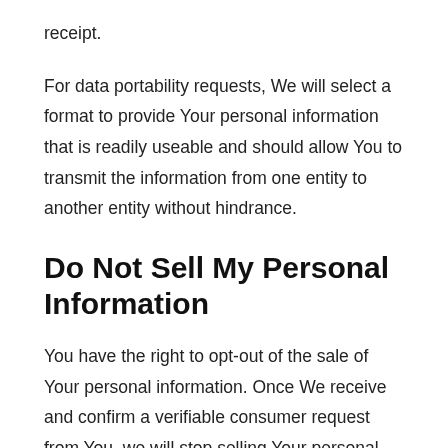receipt.
For data portability requests, We will select a format to provide Your personal information that is readily useable and should allow You to transmit the information from one entity to another entity without hindrance.
Do Not Sell My Personal Information
You have the right to opt-out of the sale of Your personal information. Once We receive and confirm a verifiable consumer request from You, we will stop selling Your personal information. To exercise Your right to opt-out, please contact Us.